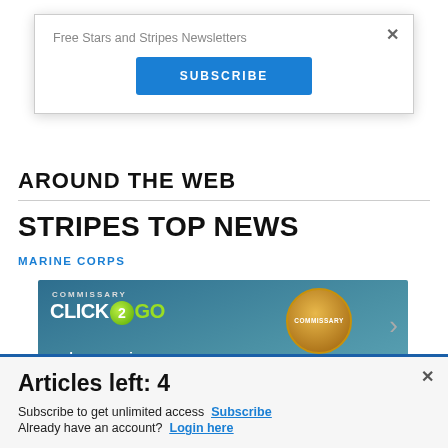Free Stars and Stripes Newsletters
SUBSCRIBE
AROUND THE WEB
STRIPES TOP NEWS
MARINE CORPS
[Figure (advertisement): Commissary Click2Go advertisement banner with green logo, commissary badge, and text 'order groceries']
Articles left: 4
Subscribe to get unlimited access Subscribe
Already have an account? Login here